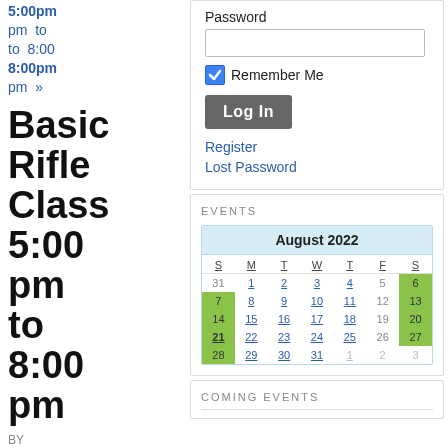5:00pm pm to 8:00pm pm »
Basic Rifle Class 5:00 pm to 8:00 pm
BY JPENTZ, ON OCTOBER 13TH,
Password
Remember Me
Log In
Register
Lost Password
EVENTS
[Figure (other): Calendar widget showing August 2022 with green highlighted dates on Sundays and Saturdays (6, 7, 13, 14, 20, 21, 27, 28)]
COMING EVENTS